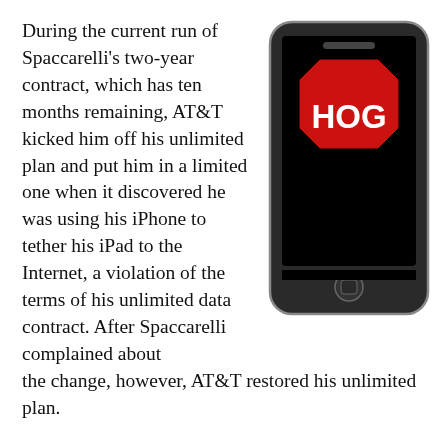During the current run of Spaccarelli's two-year contract, which has ten months remaining, AT&T kicked him off his unlimited plan and put him in a limited one when it discovered he was using his iPhone to tether his iPad to the Internet, a violation of the terms of his unlimited data contract. After Spaccarelli complained about the change, however, AT&T restored his unlimited plan.
[Figure (illustration): An iPhone with a red stop sign on the screen displaying the word HOG in white capital letters]
Judge Nadel based his award to Spaccarelli on the man's estimated data usage for the remainder of his contract, $85 a month...